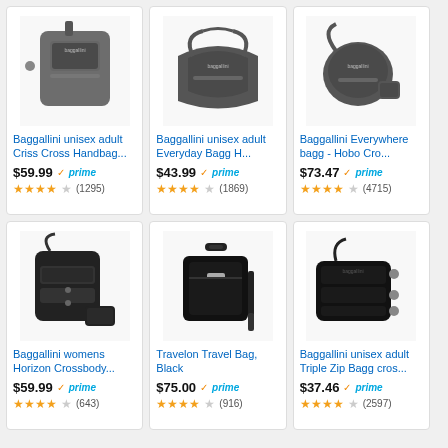[Figure (screenshot): Amazon product listing grid showing 6 crossbody/travel bags by Baggallini and Travelon with prices, Prime badges, star ratings and review counts]
Baggallini unisex adult Criss Cross Handbag... $59.99 prime 4.5 stars (1295)
Baggallini unisex adult Everyday Bagg H... $43.99 prime 4.5 stars (1869)
Baggallini Everywhere bagg - Hobo Cro... $73.47 prime 4.5 stars (4715)
Baggallini womens Horizon Crossbody... $59.99 prime 4.5 stars (643)
Travelon Travel Bag, Black $75.00 prime 4.5 stars (916)
Baggallini unisex adult Triple Zip Bagg cros... $37.46 prime 4.5 stars (2597)